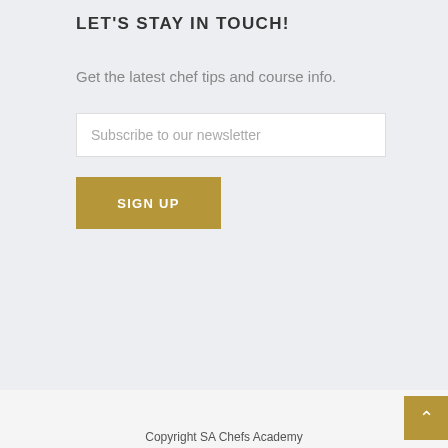LET'S STAY IN TOUCH!
Get the latest chef tips and course info.
Subscribe to our newsletter
SIGN UP
Copyright SA Chefs Academy